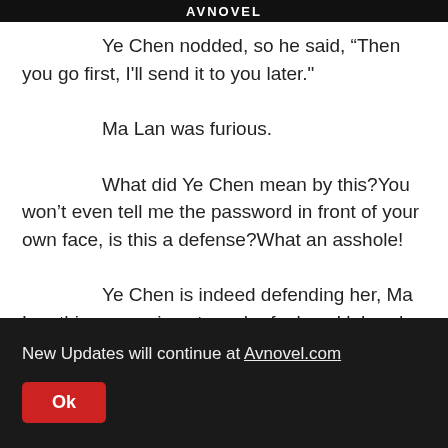AVNOVEL
Ye Chen nodded, so he said, "Then you go first, I'll send it to you later."
Ma Lan was furious.
What did Ye Chen mean by this?You won't even tell me the password in front of your own face, is this a defense?What an asshole!
Ye Chen is indeed defending her, Ma Lan this person is not much of a knucklehead, may not be secretly get rid of the money, so it is better to be careful.
Xiao Changkun changed his clothes and went out the door, and only when he was almost at the bank did he
New Updates will continue at Avnovel.com